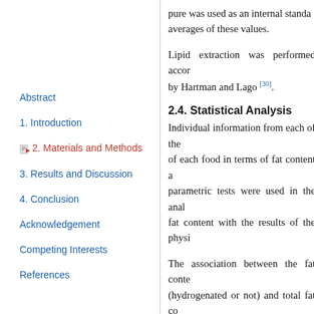pure was used as an internal standard averages of these values.
Abstract
1. Introduction
2. Materials and Methods
3. Results and Discussion
4. Conclusion
Acknowledgement
Competing Interests
References
Lipid extraction was performed accor… by Hartman and Lago [30].
2.4. Statistical Analysis
Individual information from each of the of each food in terms of fat content a parametric tests were used in the anal fat content with the results of the physi
The association between the fat conte (hydrogenated or not) and total fat co Wallis test was used to assess the rela
Fisher's exact test was used to compa to be considered “trans fat free” accor the type of fatty raw material reported in all tests. Statistical analysis was dor